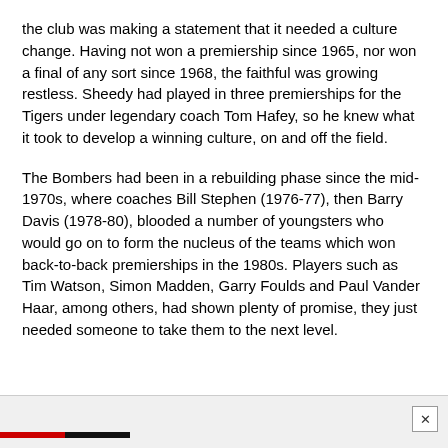the club was making a statement that it needed a culture change. Having not won a premiership since 1965, nor won a final of any sort since 1968, the faithful was growing restless. Sheedy had played in three premierships for the Tigers under legendary coach Tom Hafey, so he knew what it took to develop a winning culture, on and off the field.
The Bombers had been in a rebuilding phase since the mid-1970s, where coaches Bill Stephen (1976-77), then Barry Davis (1978-80), blooded a number of youngsters who would go on to form the nucleus of the teams which won back-to-back premierships in the 1980s. Players such as Tim Watson, Simon Madden, Garry Foulds and Paul Vander Haar, among others, had shown plenty of promise, they just needed someone to take them to the next level.